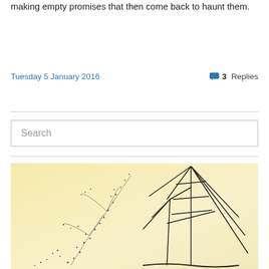making empty promises that then come back to haunt them.
Tuesday 5 January 2016
3 Replies
Search
[Figure (illustration): Watercolor illustration showing a ship with tall masts and rigging on the right, and a swirling flock of birds or a branching pattern on the left, all set against a pale yellow sky/background.]